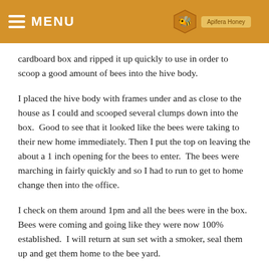MENU
cardboard box and ripped it up quickly to use in order to scoop a good amount of bees into the hive body.
I placed the hive body with frames under and as close to the house as I could and scooped several clumps down into the box.  Good to see that it looked like the bees were taking to their new home immediately. Then I put the top on leaving the about a 1 inch opening for the bees to enter.  The bees were marching in fairly quickly and so I had to run to get to home change then into the office.
I check on them around 1pm and all the bees were in the box. Bees were coming and going like they were now 100% established.  I will return at sun set with a smoker, seal them up and get them home to the bee yard.